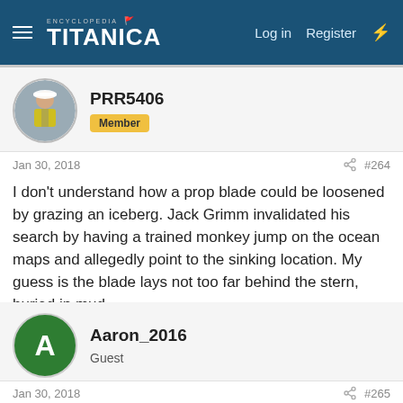Encyclopedia Titanica — Log in  Register
PRR5406
Member
Jan 30, 2018  #264
I don't understand how a prop blade could be loosened by grazing an iceberg. Jack Grimm invalidated his search by having a trained monkey jump on the ocean maps and allegedly point to the sinking location. My guess is the blade lays not too far behind the stern, buried in mud.
Aaron_2016
Guest
Jan 30, 2018  #265
They searched behind the stern and only found a long path of